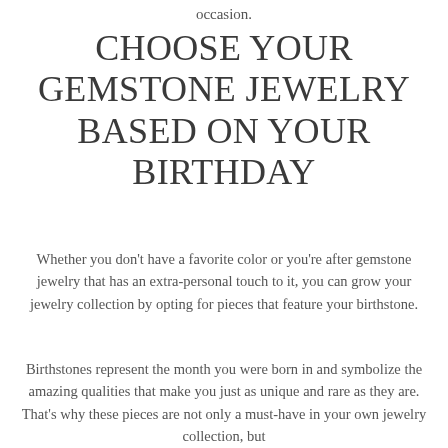occasion.
CHOOSE YOUR GEMSTONE JEWELRY BASED ON YOUR BIRTHDAY
Whether you don't have a favorite color or you're after gemstone jewelry that has an extra-personal touch to it, you can grow your jewelry collection by opting for pieces that feature your birthstone.
Birthstones represent the month you were born in and symbolize the amazing qualities that make you just as unique and rare as they are. That's why these pieces are not only a must-have in your own jewelry collection, but